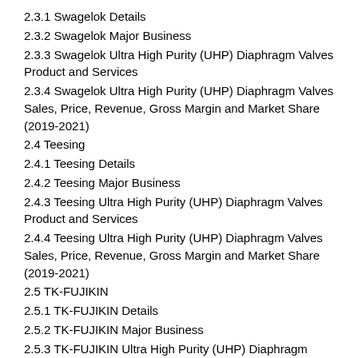2.3.1 Swagelok Details
2.3.2 Swagelok Major Business
2.3.3 Swagelok Ultra High Purity (UHP) Diaphragm Valves Product and Services
2.3.4 Swagelok Ultra High Purity (UHP) Diaphragm Valves Sales, Price, Revenue, Gross Margin and Market Share (2019-2021)
2.4 Teesing
2.4.1 Teesing Details
2.4.2 Teesing Major Business
2.4.3 Teesing Ultra High Purity (UHP) Diaphragm Valves Product and Services
2.4.4 Teesing Ultra High Purity (UHP) Diaphragm Valves Sales, Price, Revenue, Gross Margin and Market Share (2019-2021)
2.5 TK-FUJIKIN
2.5.1 TK-FUJIKIN Details
2.5.2 TK-FUJIKIN Major Business
2.5.3 TK-FUJIKIN Ultra High Purity (UHP) Diaphragm Valves Product and Services
2.5.4 TK-FUJIKIN Ultra High Purity (UHP) Diaphragm Valves